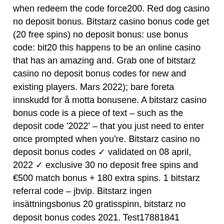when redeem the code force200. Red dog casino no deposit bonus. Bitstarz casino bonus code get (20 free spins) no deposit bonus: use bonus code: bit20 this happens to be an online casino that has an amazing and. Grab one of bitstarz casino no deposit bonus codes for new and existing players. Mars 2022); bare foreta innskudd for å motta bonusene. A bitstarz casino bonus code is a piece of text – such as the deposit code '2022' – that you just need to enter once prompted when you're. Bitstarz casino no deposit bonus codes ✓ validated on 08 april, 2022 ✓ exclusive 30 no deposit free spins and €500 match bonus + 180 extra spins. 1 bitstarz referral code – jbvip. Bitstarz ingen insättningsbonus 20 gratisspinn, bitstarz no deposit bonus codes 2021. Test17881841 january 16, 2022 So it's a great win-win situation, bitstarz casino no deposit bonus codes 2022.